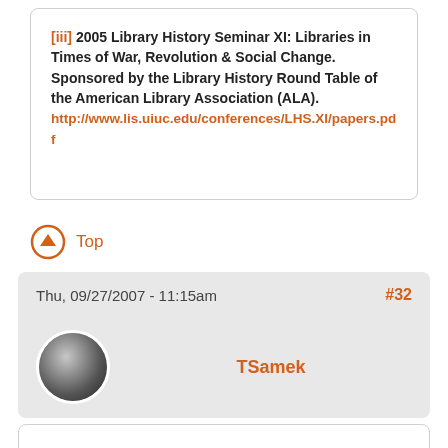[iii] 2005 Library History Seminar XI: Libraries in Times of War, Revolution & Social Change. Sponsored by the Library History Round Table of the American Library Association (ALA). http://www.lis.uiuc.edu/conferences/LHS.XI/papers.pdf
Top
Thu, 09/27/2007 - 11:15am #32
TSamek
when in isolation, find the network
Library and information workers, especially those working in isloation, should identify and learn about local